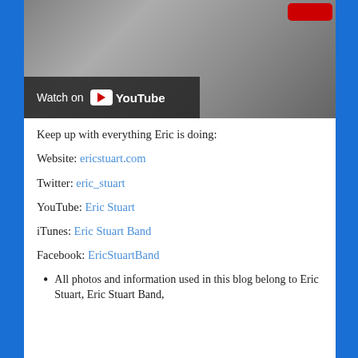[Figure (screenshot): YouTube video thumbnail showing a drum kit in black and white/sepia tone, with a 'Watch on YouTube' overlay bar at the bottom left and a red YouTube button at top right.]
Keep up with everything Eric is doing:
Website: ericstuart.com
Twitter: eric_stuart
YouTube: Eric Stuart
iTunes: Eric Stuart Band
Facebook: EricStuartBand
All photos and information used in this blog belong to Eric Stuart, Eric Stuart Band,